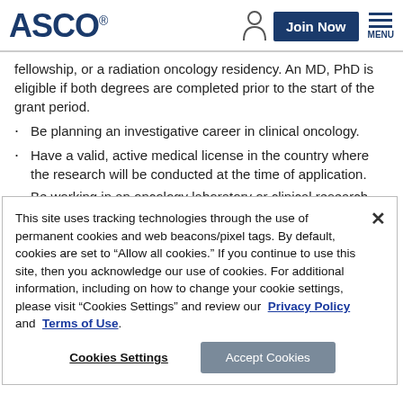[Figure (logo): ASCO logo with person icon, Join Now button, and MENU icon in header]
fellowship, or a radiation oncology residency. An MD, PhD is eligible if both degrees are completed prior to the start of the grant period.
Be planning an investigative career in clinical oncology.
Have a valid, active medical license in the country where the research will be conducted at the time of application.
Be working in an oncology laboratory or clinical research
This site uses tracking technologies through the use of permanent cookies and web beacons/pixel tags. By default, cookies are set to “Allow all cookies.” If you continue to use this site, then you acknowledge our use of cookies. For additional information, including on how to change your cookie settings, please visit “Cookies Settings” and review our Privacy Policy and Terms of Use.